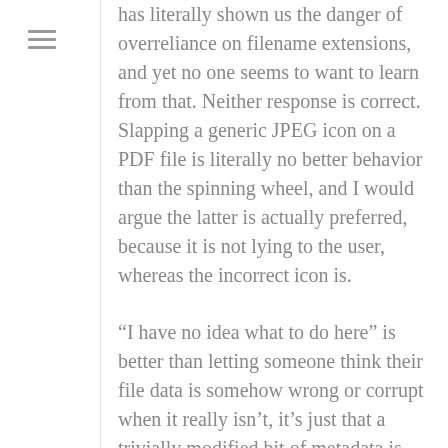has literally shown us the danger of overreliance on filename extensions, and yet no one seems to want to learn from that. Neither response is correct. Slapping a generic JPEG icon on a PDF file is literally no better behavior than the spinning wheel, and I would argue the latter is actually preferred, because it is not lying to the user, whereas the incorrect icon is.
“I have no idea what to do here” is better than letting someone think their file data is somehow wrong or corrupt when it really isn’t, it’s just that a trivially modified bit of metadata is wrong.